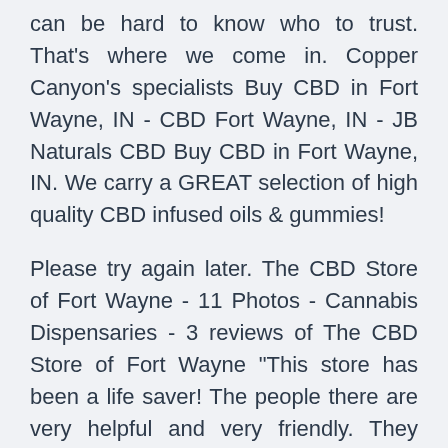can be hard to know who to trust. That's where we come in. Copper Canyon's specialists Buy CBD in Fort Wayne, IN - CBD Fort Wayne, IN - JB Naturals CBD Buy CBD in Fort Wayne, IN. We carry a GREAT selection of high quality CBD infused oils & gummies!
Please try again later. The CBD Store of Fort Wayne - 11 Photos - Cannabis Dispensaries - 3 reviews of The CBD Store of Fort Wayne "This store has been a life saver! The people there are very helpful and very friendly. They don't talk down to you and have a profound knowledge of the benefits of using CBD products. Why some people say CBD oil is illegal in Indiana Why some people say CBD oil is illegal in Indiana.
In the human body, CBD works synergistically with